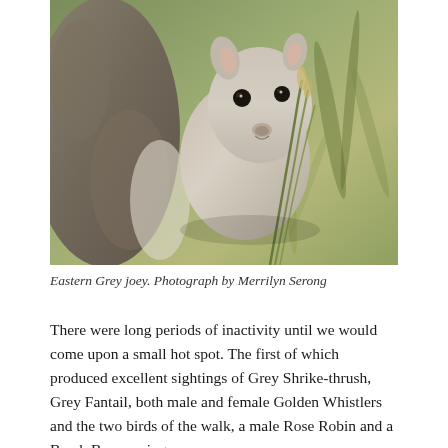[Figure (photo): Close-up photograph of an Eastern Grey kangaroo joey peeking out, with blurred green grassy background. The joey has large dark eyes, soft grey fur, and a pale face.]
Eastern Grey joey. Photograph by Merrilyn Serong
There were long periods of inactivity until we would come upon a small hot spot. The first of which produced excellent sightings of Grey Shrike-thrush, Grey Fantail, both male and female Golden Whistlers and the two birds of the walk, a male Rose Robin and a Brush Bronzewing.